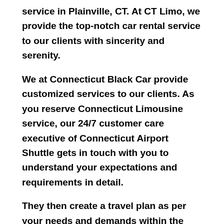service in Plainville, CT. At CT Limo, we provide the top-notch car rental service to our clients with sincerity and serenity.
We at Connecticut Black Car provide customized services to our clients. As you reserve Connecticut Limousine service, our 24/7 customer care executive of Connecticut Airport Shuttle gets in touch with you to understand your expectations and requirements in detail.
They then create a travel plan as per your needs and demands within the budget that suits your pocket. We at Connecticut Airport Transportation follow the approach of being a customer-centric service provider and thus keep the client